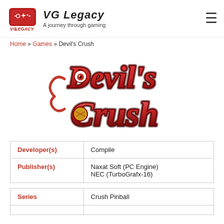VG Legacy — A journey through gaming
Home » Games » Devil's Crush
[Figure (logo): Devil's Crush game logo with stylized text and decorative skull/eye imagery in red and orange tones]
| Field | Value |
| --- | --- |
| Developer(s) | Compile |
| Publisher(s) | Naxat Soft (PC Engine)
NEC (TurboGrafx-16) |
| Field | Value |
| --- | --- |
| Series | Crush Pinball |